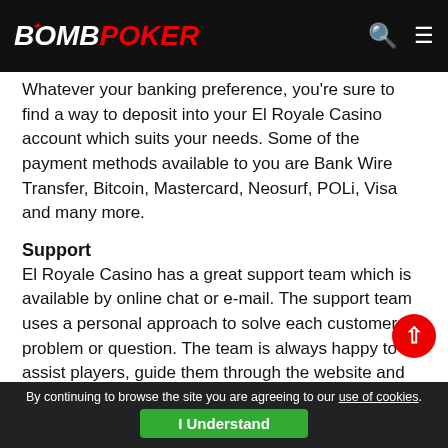BOMB POKER
Whatever your banking preference, you're sure to find a way to deposit into your El Royale Casino account which suits your needs. Some of the payment methods available to you are Bank Wire Transfer, Bitcoin, Mastercard, Neosurf, POLi, Visa and many more.
Support
El Royale Casino has a great support team which is available by online chat or e-mail. The support team uses a personal approach to solve each customer problem or question. The team is always happy to assist players, guide them through the website and give advice.
Restricted Territories
By continuing to browse the site you are agreeing to our use of cookies.
I Understand